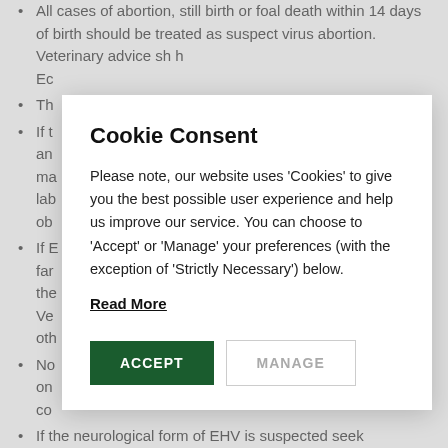All cases of abortion, still birth or foal death within 14 days of birth should be treated as suspect virus abortion. Veterinary advice sh... h Ec...
Th...
If t... an... ma... lab... ob...
If E... ed far... the... Ve... oth...
No... on... co...
If the neurological form of EHV is suspected seek veterinary advice, stop breeding and all movement on and off the
Cookie Consent
Please note, our website uses 'Cookies' to give you the best possible user experience and help us improve our service. You can choose to 'Accept' or 'Manage' your preferences (with the exception of 'Strictly Necessary') below.
Read More
ACCEPT   MANAGE